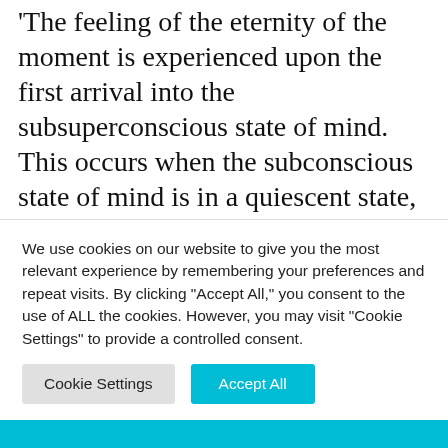The feeling of the eternity of the moment is experienced upon the first arrival into the subsuperconscious state of mind. This occurs when the subconscious state of mind is in a quiescent state, a state of full receptivity to superconsciousness. It has not been destroyed, but has been purified of all barriers, such as negative attachments. When this occurs, the devotee has the feeling that there is no future, there is no past, and the only reality is the
We use cookies on our website to give you the most relevant experience by remembering your preferences and repeat visits. By clicking "Accept All," you consent to the use of ALL the cookies. However, you may visit "Cookie Settings" to provide a controlled consent.